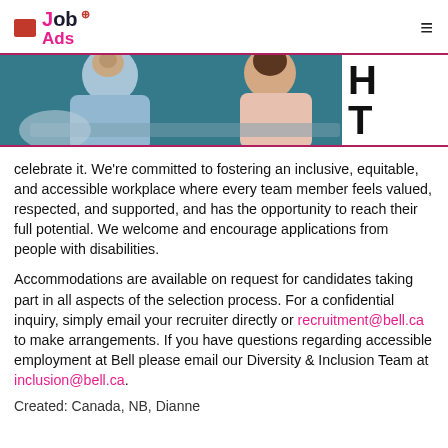Job Ads [Canadian flag icon] ≡
[Figure (photo): Photo of people working together at a table, with a partial heading 'H T' visible on the right side]
celebrate it. We're committed to fostering an inclusive, equitable, and accessible workplace where every team member feels valued, respected, and supported, and has the opportunity to reach their full potential. We welcome and encourage applications from people with disabilities.
Accommodations are available on request for candidates taking part in all aspects of the selection process. For a confidential inquiry, simply email your recruiter directly or recruitment@bell.ca to make arrangements. If you have questions regarding accessible employment at Bell please email our Diversity & Inclusion Team at inclusion@bell.ca.
Created: Canada, NB, Dianne